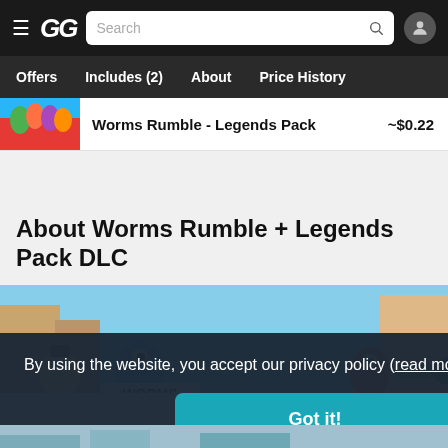GG — Search bar — user icon
Offers | Includes (2) | About | Price History
Worms Rumble - Legends Pack   ~$0.22
About Worms Rumble + Legends Pack DLC
[Figure (screenshot): Worms Rumble game screenshot showing colorful worm characters in an action scene]
By using the website, you accept our privacy policy (read more).
Got it!